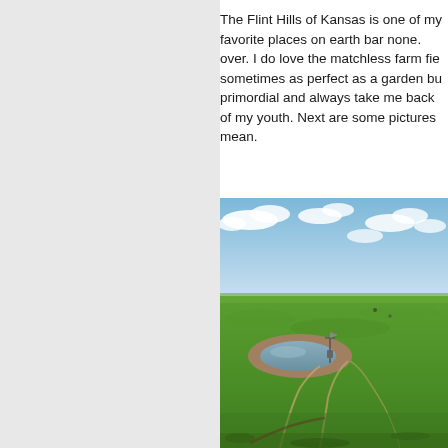The Flint Hills of Kansas is one of my favorite places on earth bar none. over. I do love the matchless farm fie sometimes as perfect as a garden bu primordial and always take me back of my youth. Next are some pictures mean.
[Figure (photo): Aerial view of Flint Hills Kansas grassland with a small pond, windmill, dirt tracks across green prairie under a partly cloudy sky.]